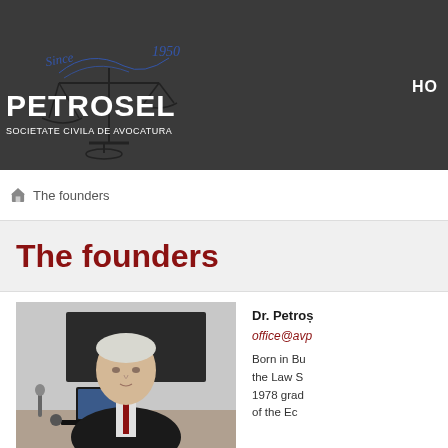[Figure (logo): Petrosel Societate Civila de Avocatura logo with scales of justice illustration and cursive 'Since 1950' text]
HO
The founders
The founders
[Figure (photo): Professional portrait of Dr. Petros sitting at a desk with a laptop, wearing a dark suit]
Dr. Petroș
office@avp
Born in Bu the Law S 1978 grad of the Ec